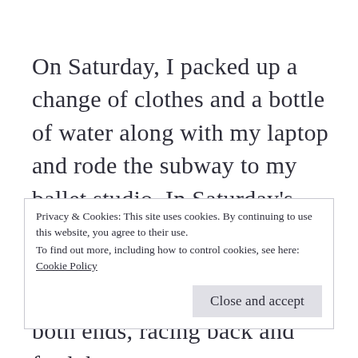On Saturday, I packed up a change of clothes and a bottle of water along with my laptop and rode the subway to my ballet studio. In Saturday's beginner class, I usually led the bar; on a cold February morning, I might have led both ends, racing back and forth between songs to demonstrate the exercise on both the right
Privacy & Cookies: This site uses cookies. By continuing to use this website, you agree to their use.
To find out more, including how to control cookies, see here: Cookie Policy
Close and accept